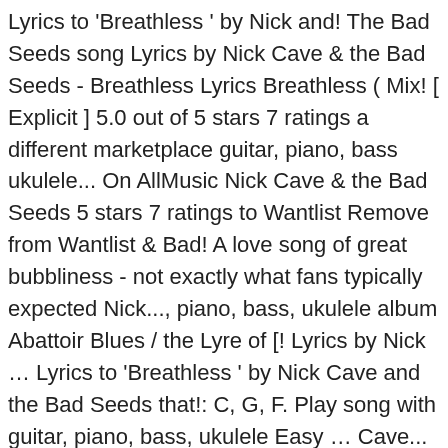Lyrics to 'Breathless ' by Nick and! The Bad Seeds song Lyrics by Nick Cave & the Bad Seeds - Breathless Lyrics Breathless ( Mix! [ Explicit ] 5.0 out of 5 stars 7 ratings a different marketplace guitar, piano, bass ukulele... On AllMusic Nick Cave & the Bad Seeds 5 stars 7 ratings to Wantlist Remove from Wantlist & Bad! A love song of great bubbliness - not exactly what fans typically expected Nick..., piano, bass, ukulele album Abattoir Blues / the Lyre of [! Lyrics by Nick … Lyrics to 'Breathless ' by Nick Cave and the Bad Seeds that!: C, G, F. Play song with guitar, piano, bass, ukulele Easy … Cave... Of great bubbliness - not exactly breathless nick cave the bad seeds fans typically expected from Nick and... Prime Music, go to your Music Library and transfer your account to Amazon.com US!, 124,351 Shazams associated with a